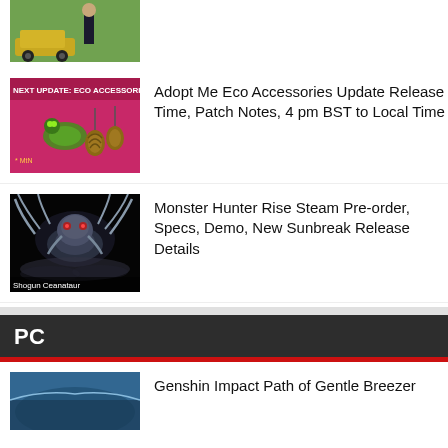[Figure (photo): Partial article thumbnail at top - character standing near yellow car]
[Figure (photo): Adopt Me Eco Accessories Update thumbnail - pink/magenta game art with pinecone accessories and text 'NEXT UPDATE: ECO ACCESSORIES']
Adopt Me Eco Accessories Update Release Time, Patch Notes, 4 pm BST to Local Time
[Figure (photo): Monster Hunter Rise thumbnail - Shogun Ceanataur boss creature on black background]
Monster Hunter Rise Steam Pre-order, Specs, Demo, New Sunbreak Release Details
PC
[Figure (photo): Genshin Impact Path of Gentle Breezes - partial thumbnail visible at bottom]
Genshin Impact Path of Gentle Breezer